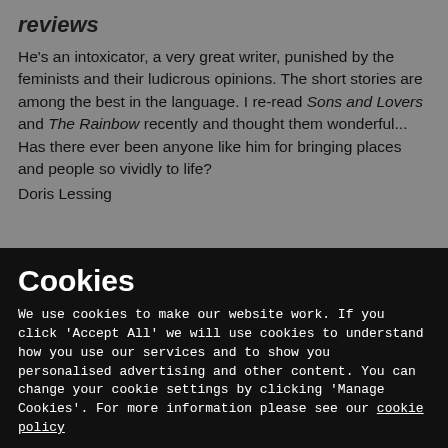reviews
He's an intoxicator, a very great writer, punished by the feminists and their ludicrous opinions. The short stories are among the best in the language. I re-read Sons and Lovers and The Rainbow recently and thought them wonderful... Has there ever been anyone like him for bringing places and people so vividly to life?
Doris Lessing
Cookies
We use cookies to make our website work. If you click 'Accept All' we will use cookies to understand how you use our services and to show you personalised advertising and other content. You can change your cookie settings by clicking 'Manage Cookies'. For more information please see our cookie policy
MANAGE COOKIE SETTINGS
ACCEPT ALL COOKIES